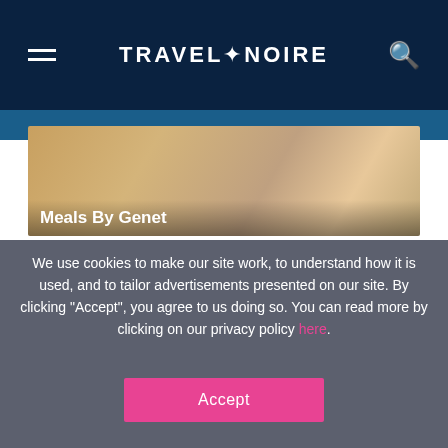TRAVEL+NOIRE
[Figure (photo): Photo of hands with food, article thumbnail for Meals By Genet]
Meals By Genet
We use cookies to make our site work, to understand how it is used, and to tailor advertisements presented on our site. By clicking “Accept”, you agree to us doing so. You can read more by clicking on our privacy policy here.
Accept